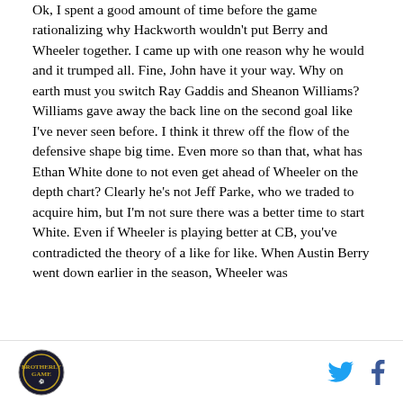Ok, I spent a good amount of time before the game rationalizing why Hackworth wouldn't put Berry and Wheeler together. I came up with one reason why he would and it trumped all. Fine, John have it your way. Why on earth must you switch Ray Gaddis and Sheanon Williams? Williams gave away the back line on the second goal like I've never seen before. I think it threw off the flow of the defensive shape big time. Even more so than that, what has Ethan White done to not even get ahead of Wheeler on the depth chart? Clearly he's not Jeff Parke, who we traded to acquire him, but I'm not sure there was a better time to start White. Even if Wheeler is playing better at CB, you've contradicted the theory of a like for like. When Austin Berry went down earlier in the season, Wheeler was
[Logo] [Twitter icon] [Facebook icon]